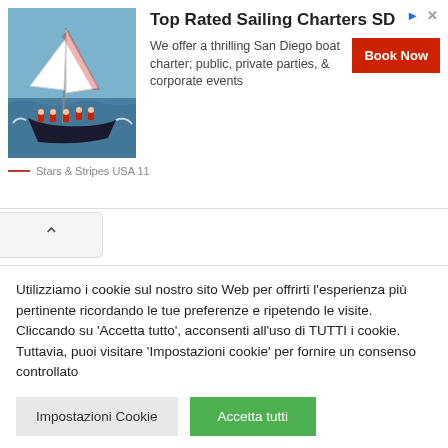[Figure (photo): Sailing boat with crew on water, blue sea and sky background. Photo of Stars & Stripes USA 11 racing yacht.]
Top Rated Sailing Charters SD
We offer a thrilling San Diego boat charter; public, private parties, & corporate events
Book Now
Stars & Stripes USA 11
Articolo Precedente
Vita e Mare n. 11-12
Articolo Successivo
Utilizziamo i cookie sul nostro sito Web per offrirti l'esperienza più pertinente ricordando le tue preferenze e ripetendo le visite. Cliccando su 'Accetta tutto', acconsenti all'uso di TUTTI i cookie. Tuttavia, puoi visitare 'Impostazioni cookie' per fornire un consenso controllato
Impostazioni Cookie
Accetta tutti